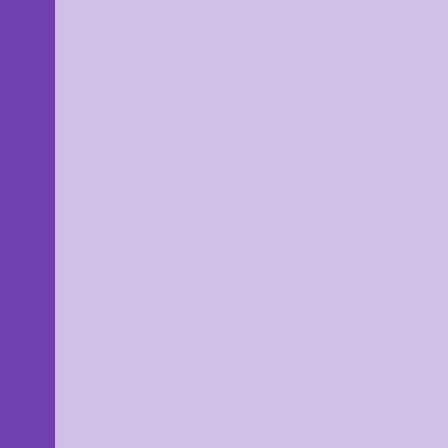wine, and their house sea and really made a beauti Saturday broke sunny an zones at 9 hrs. ahead of breakfast room spread. W see the signature lighthou
We crossed immediately into Austria on the lake and then into Switzerland and stayed on the non-vignette roads, Hwy 13 and 3 getting through Chur to stopping in the Viamala canyon, see this link with photos from one of previous trips, to have lunch and enjoy the canyon once again as we full day made us both rea travel day's enjoyment. Ov